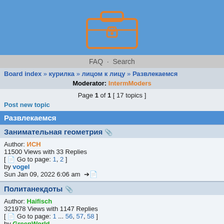[Figure (logo): Orange briefcase/toolbox icon on blue background]
FAQ · Search
Board index » курилка » лицом к лицу » Развлекаемся
Moderator: IntermModers
Page 1 of 1 [ 17 topics ]
Post new topic
Развлекаемся
Занимательная геометрия 🖇
Author: ИСН
11500 Views with 33 Replies
[ Go to page: 1, 2 ]
by vogel
Sun Jan 09, 2022 6:06 am →
Политанекдоты 🖇
Author: Haifisch
321978 Views with 1147 Replies
[ Go to page: 1 ... 56, 57, 58 ]
by GreenWorld
Tue Nov 09, 2021 2:33 am →
ZOGадочки Кемигранта 🖇